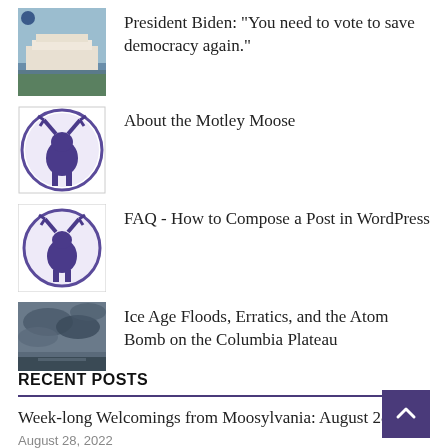President Biden: "You need to vote to save democracy again."
About the Motley Moose
FAQ - How to Compose a Post in WordPress
Ice Age Floods, Erratics, and the Atom Bomb on the Columbia Plateau
President Obama speaks at the Congressional Black Caucus Dinner (Updated with Transcript)
RECENT POSTS
Week-long Welcomings from Moosylvania: August 28th
August 28, 2022